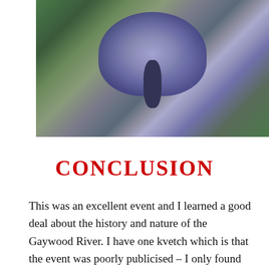[Figure (photo): Close-up photograph of a blue butterfly resting on green foliage, wings spread open, viewed from above.]
CONCLUSION
This was an excellent event and I learned a good deal about the history and nature of the Gaywood River. I have one kvetch which is that the event was poorly publicised – I only found out about it through my aunt and then only a few days before it was happening, meaning that anyone else I might have alerted would almost certainly have had other plans. If half of